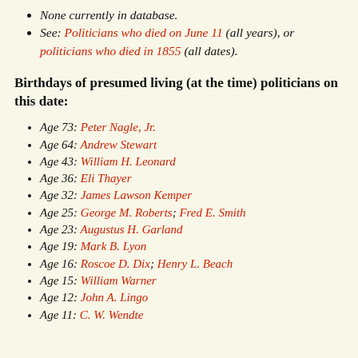None currently in database.
See: Politicians who died on June 11 (all years), or politicians who died in 1855 (all dates).
Birthdays of presumed living (at the time) politicians on this date:
Age 73: Peter Nagle, Jr.
Age 64: Andrew Stewart
Age 43: William H. Leonard
Age 36: Eli Thayer
Age 32: James Lawson Kemper
Age 25: George M. Roberts; Fred E. Smith
Age 23: Augustus H. Garland
Age 19: Mark B. Lyon
Age 16: Roscoe D. Dix; Henry L. Beach
Age 15: William Warner
Age 12: John A. Lingo
Age 11: C. W. Wendte